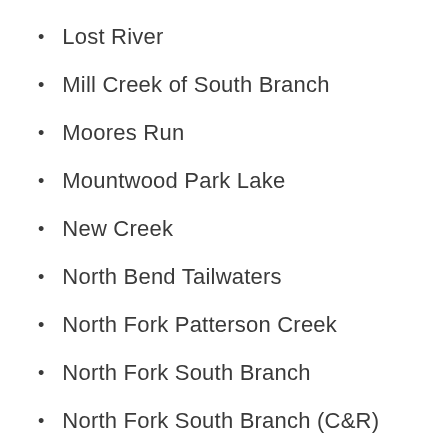Lost River
Mill Creek of South Branch
Moores Run
Mountwood Park Lake
New Creek
North Bend Tailwaters
North Fork Patterson Creek
North Fork South Branch
North Fork South Branch (C&R)
North River
Opequon Creek